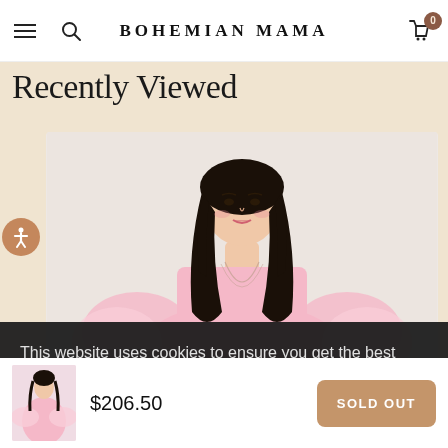BOHEMIAN MAMA
Recently Viewed
[Figure (photo): Model wearing a pink ruffled dress with long dark hair, upper body product photo on light background]
This website uses cookies to ensure you get the best experience on our website. Learn More
[Figure (photo): Small thumbnail of model in pink dress]
$206.50
SOLD OUT